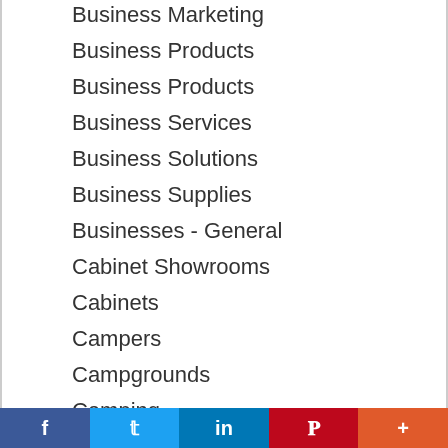Business Marketing
Business Products
Business Products
Business Services
Business Solutions
Business Supplies
Businesses - General
Cabinet Showrooms
Cabinets
Campers
Campgrounds
Camping
Car
Car Accident Lawyers